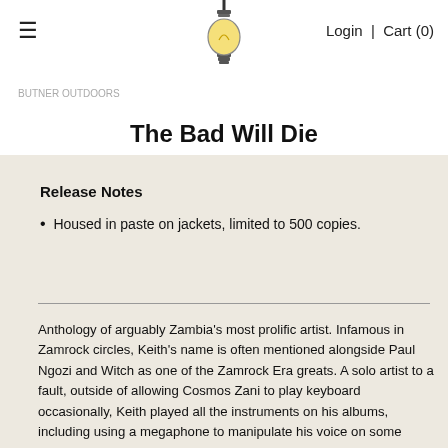≡  [bulb logo]  Login | Cart (0)
The Bad Will Die
Release Notes
Housed in paste on jackets, limited to 500 copies.
Anthology of arguably Zambia's most prolific artist. Infamous in Zamrock circles, Keith's name is often mentioned alongside Paul Ngozi and Witch as one of the Zamrock Era greats. A solo artist to a fault, outside of allowing Cosmos Zani to play keyboard occasionally, Keith played all the instruments on his albums, including using a megaphone to manipulate his voice on some songs. He also went against the grain and created his own MAC BULLET imprint as opposed to going with any of the more significant Zambian labels. Winning the Zambian polls for Best Solo Artist in 1977, he finished second to the Ngozi Family...